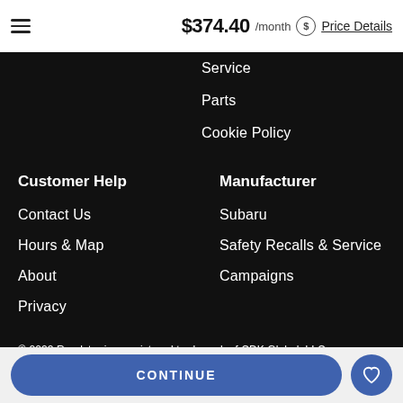$374.40 /month Price Details
Service
Parts
Cookie Policy
Customer Help
Contact Us
Hours & Map
About
Privacy
Sitemap
Manufacturer
Subaru
Safety Recalls & Service
Campaigns
© 2022 Roadster is a registered trademark of CDK Global, LLC.
CONTINUE